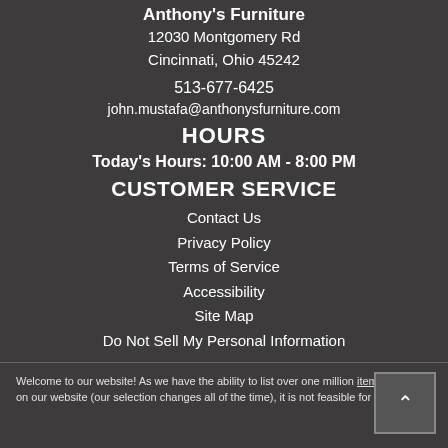Anthony's Furniture
12030 Montgomery Rd
Cincinnati, Ohio 45242
513-677-6425
john.mustafa@anthonysfurniture.com
HOURS
Today's Hours: 10:00 AM - 8:00 PM
CUSTOMER SERVICE
Contact Us
Privacy Policy
Terms of Service
Accessibility
Site Map
Do Not Sell My Personal Information
Welcome to our website! As we have the ability to list over one million items on our website (our selection changes all of the time), it is not feasible for a